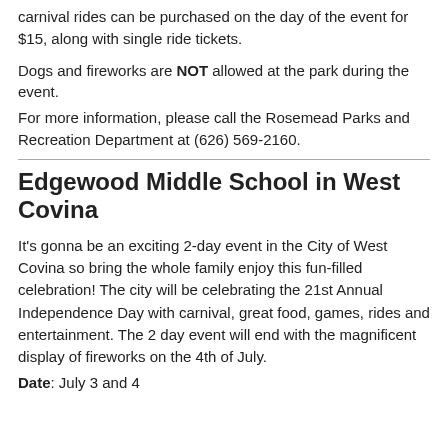carnival rides can be purchased on the day of the event for $15, along with single ride tickets.
Dogs and fireworks are NOT allowed at the park during the event.
For more information, please call the Rosemead Parks and Recreation Department at (626) 569-2160.
Edgewood Middle School in West Covina
It's gonna be an exciting 2-day event in the City of West Covina so bring the whole family enjoy this fun-filled celebration! The city will be celebrating the 21st Annual Independence Day with carnival, great food, games, rides and entertainment. The 2 day event will end with the magnificent display of fireworks on the 4th of July.
Date: July 3 and 4